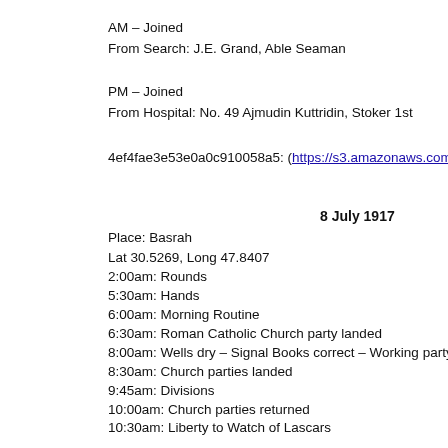AM – Joined
From Search: J.E. Grand, Able Seaman
PM – Joined
From Hospital: No. 49 Ajmudin Kuttridin, Stoker 1st
4ef4fae3e53e0a0c910058a5: (https://s3.amazonaws.com:443/oldwea…)
8 July 1917
Place: Basrah
Lat 30.5269, Long 47.8407
2:00am: Rounds
5:30am: Hands
6:00am: Morning Routine
6:30am: Roman Catholic Church party landed
8:00am: Wells dry – Signal Books correct – Working party to Depot
8:30am: Church parties landed
9:45am: Divisions
10:00am: Church parties returned
10:30am: Liberty to Watch of Lascars
12:00pm: Signal Books correct – Working party returned
1:00pm: Hands piped down
2:00pm: Issued Quinine to Naval Ratings - Issued Quinine to Native R…
3:45pm: Cleared up decks
4:00pm: Evening Quarters – Signal Books correct
4:30pm: Working party to Depot
4:45pm: Liberty to Naval Ratings
6:00pm: Sunset - Fire Gear in readiness
6:30pm: Working party returned